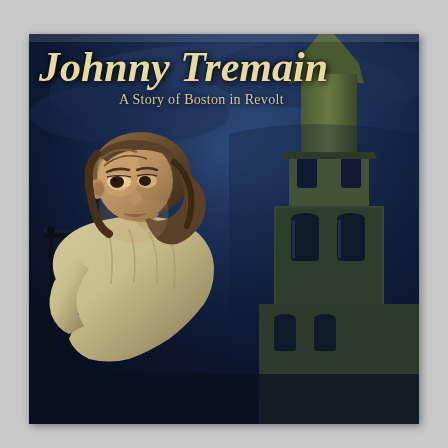[Figure (illustration): Book cover of 'Johnny Tremain: A Story of Boston in Revolt'. Shows a young teenage boy with shoulder-length brown hair wearing a white colonial-era shirt, looking intensely to the left. Behind him is a large colonial church steeple (resembling Old North Church in Boston) against a dark, dramatic stormy blue sky. The title 'Johnny Tremain' is in large cream/tan italic script at the top, with subtitle 'A Story of Boston in Revolt' below it in smaller serif text.]
Johnny Tremain
A Story of Boston in Revolt